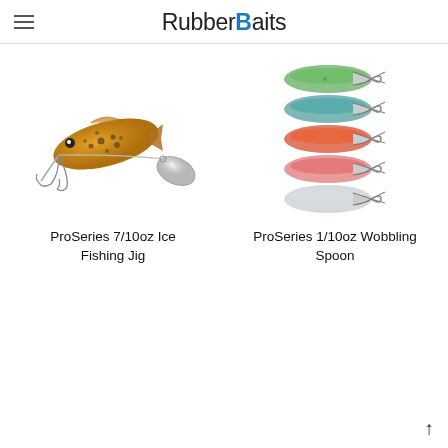RubberBaits
[Figure (illustration): ProSeries 7/10oz Ice Fishing Jig - a fishing lure with spotted golden fish body and silver spinner blade with treble hook]
ProSeries 7/10oz Ice Fishing Jig
[Figure (illustration): ProSeries 1/10oz Wobbling Spoon - five small spoon lures stacked, in green/white, teal/white, red/orange, red/white, and silver/white colorways, each with a treble hook]
ProSeries 1/10oz Wobbling Spoon